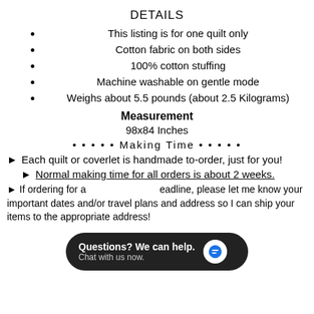DETAILS
This listing is for one quilt only
Cotton fabric on both sides
100% cotton stuffing
Machine washable on gentle mode
Weighs about 5.5 pounds (about 2.5 Kilograms)
Measurement
98x84 Inches
• • • • • Making Time • • • • •
Each quilt or coverlet is handmade to-order, just for you!
Normal making time for all orders is about 2 weeks.
If ordering for a deadline, please let me know your important dates and/or travel plans and address so I can ship your items to the appropriate address!